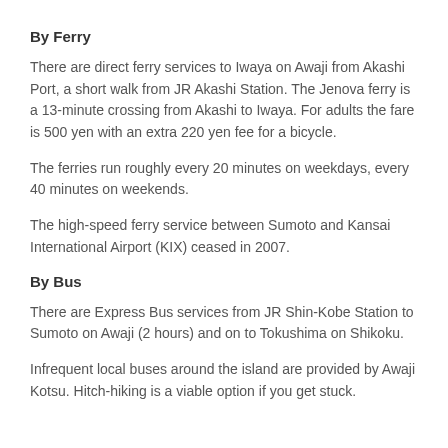By Ferry
There are direct ferry services to Iwaya on Awaji from Akashi Port, a short walk from JR Akashi Station. The Jenova ferry is a 13-minute crossing from Akashi to Iwaya. For adults the fare is 500 yen with an extra 220 yen fee for a bicycle.
The ferries run roughly every 20 minutes on weekdays, every 40 minutes on weekends.
The high-speed ferry service between Sumoto and Kansai International Airport (KIX) ceased in 2007.
By Bus
There are Express Bus services from JR Shin-Kobe Station to Sumoto on Awaji (2 hours) and on to Tokushima on Shikoku.
Infrequent local buses around the island are provided by Awaji Kotsu. Hitch-hiking is a viable option if you get stuck.